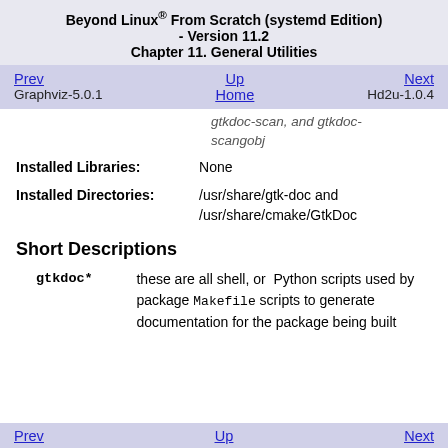Beyond Linux® From Scratch (systemd Edition) - Version 11.2
Chapter 11. General Utilities
| Prev | Up | Next |
| --- | --- | --- |
| Graphviz-5.0.1 | Home | Hd2u-1.0.4 |
gtkdoc-scan, and gtkdoc-scangobj
| Label | Value |
| --- | --- |
| Installed Libraries: | None |
| Installed Directories: | /usr/share/gtk-doc and /usr/share/cmake/GtkDoc |
Short Descriptions
| Name | Description |
| --- | --- |
| gtkdoc* | these are all shell, or Python scripts used by package Makefile scripts to generate documentation for the package being built |
Prev   Up   Next